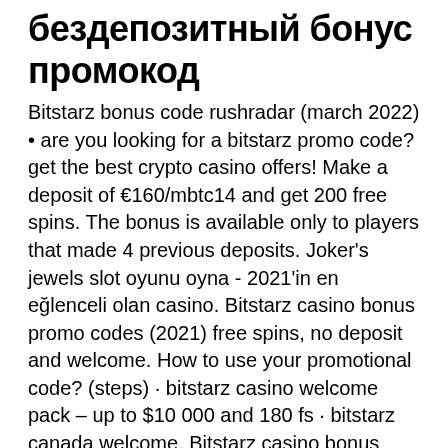бездепозитный бонус промокод
Bitstarz bonus code rushradar (march 2022) • are you looking for a bitstarz promo code? get the best crypto casino offers! Make a deposit of €160/mbtc14 and get 200 free spins. The bonus is available only to players that made 4 previous deposits. Joker's jewels slot oyunu oyna - 2021'in en eğlenceli olan casino. Bitstarz casino bonus promo codes (2021) free spins, no deposit and welcome. How to use your promotional code? (steps) · bitstarz casino welcome pack – up to $10 000 and 180 fs · bitstarz canada welcome. Bitstarz casino bonus code 2021: &quot;jp&quot; promo free spins. Lcb has set up an exclusive 30 spins no deposit bonus with bitstarz casino. The online casino offers 5172 slots from 57 software providers. Visit